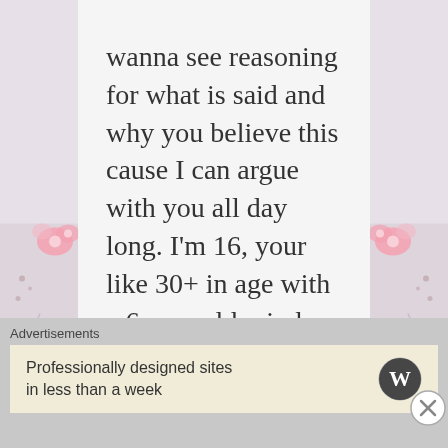[Figure (illustration): Pink floral decorative border on the left side of the page with roses and swirling vines on a light gray/pink background]
[Figure (illustration): Pink floral decorative border on the right side of the page with roses and swirling vines on a light gray/pink background]
wanna see reasoning for what is said and why you believe this cause I can argue with you all day long. I'm 16, your like 30+ in age with a 6 year old mind. Let's see who wins.
★ Like
Advertisements
Professionally designed sites in less than a week